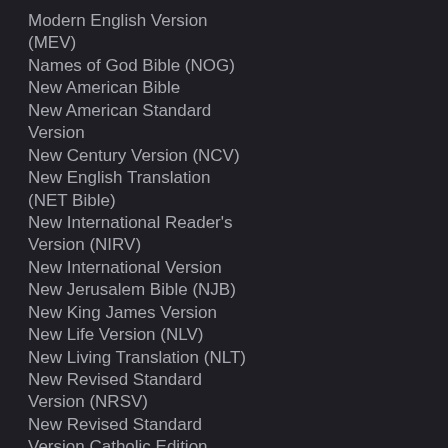Modern English Version (MEV)
Names of God Bible (NOG)
New American Bible
New American Standard Version
New Century Version (NCV)
New English Translation (NET Bible)
New International Reader's Version (NIRV)
New International Version
New Jerusalem Bible (NJB)
New King James Version
New Life Version (NLV)
New Living Translation (NLT)
New Revised Standard Version (NRSV)
New Revised Standard Version Catholic Edition (NRSVCE)
New World Translation
Orthodox Jewish Bible (OJB)
Revised Standard Version
Torah Nav JPS (1985)